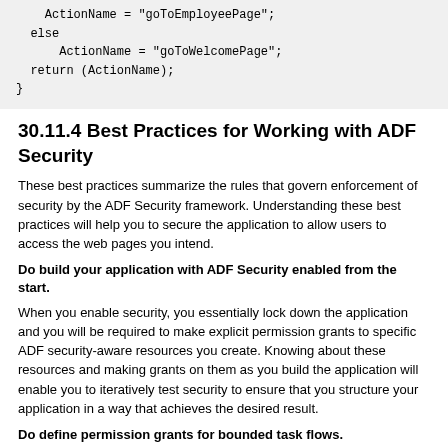[Figure (screenshot): Code block showing ActionName assignments and return statement in monospace font on grey background]
30.11.4 Best Practices for Working with ADF Security
These best practices summarize the rules that govern enforcement of security by the ADF Security framework. Understanding these best practices will help you to secure the application to allow users to access the web pages you intend.
Do build your application with ADF Security enabled from the start.
When you enable security, you essentially lock down the application and you will be required to make explicit permission grants to specific ADF security-aware resources you create. Knowing about these resources and making grants on them as you build the application will enable you to iteratively test security to ensure that you structure your application in a way that achieves the desired result.
Do define permission grants for bounded task flows.